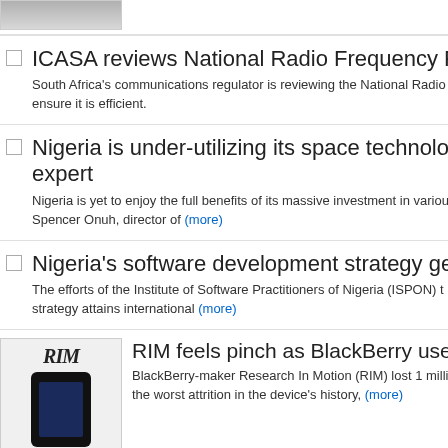[Figure (photo): Partial image of article thumbnail at top, cropped]
ICASA reviews National Radio Frequency Plan
South Africa's communications regulator is reviewing the National Radio… ensure it is efficient.
Nigeria is under-utilizing its space technology and sa… expert
Nigeria is yet to enjoy the full benefits of its massive investment in variou… Spencer Onuh, director of (more)
Nigeria's software development strategy gets UN co…
The efforts of the Institute of Software Practitioners of Nigeria (ISPON) t… strategy attains international (more)
[Figure (photo): RIM logo and BlackBerry phone image]
RIM feels pinch as BlackBerry users' drop…
BlackBerry-maker Research In Motion (RIM) lost 1 million… the worst attrition in the device's history, (more)
[Figure (photo): Small gold trophy or cup icon thumbnail]
Guest post: Five lessons in business from…